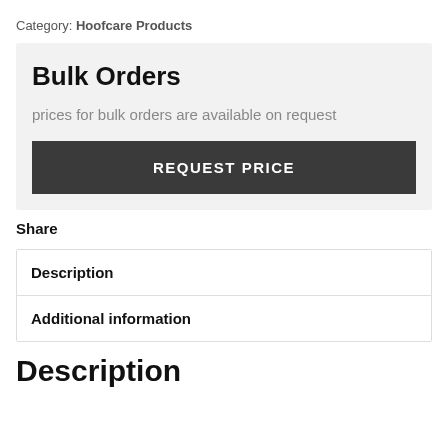Category: Hoofcare Products
Bulk Orders
prices for bulk orders are available on request
REQUEST PRICE
Share
Description
Additional information
Description